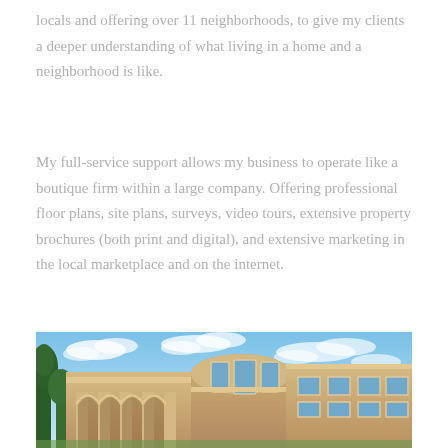locals and offering over 11 neighborhoods, to give my clients a deeper understanding of what living in a home and a neighborhood is like.
My full-service support allows my business to operate like a boutique firm within a large company. Offering professional floor plans, site plans, surveys, video tours, extensive property brochures (both print and digital), and extensive marketing in the local marketplace and on the internet.
[Figure (photo): Exterior photo of a large luxury home with curved architectural elements, arched windows, stucco facade in warm beige/tan tones, multiple windows, green trees on the left, and a blue sky with white clouds in the background.]